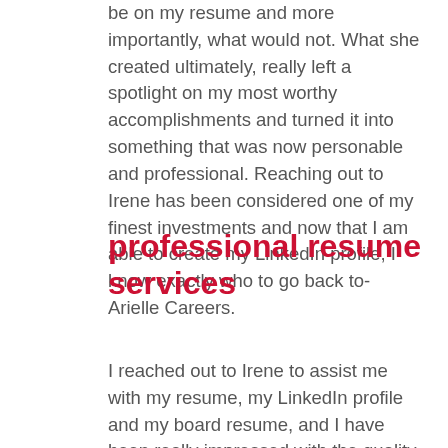be on my resume and more importantly, what would not. What she created ultimately, really left a spotlight on my most worthy accomplishments and turned it into something that was now personable and professional. Reaching out to Irene has been considered one of my finest investments and now that I am able to create my LinkedIn profile, I know exactly who to go back to- Arielle Careers.
professional resume services
I reached out to Irene to assist me with my resume, my LinkedIn profile and my board resume, and I have been really impressed with the quality of service and the wonderful